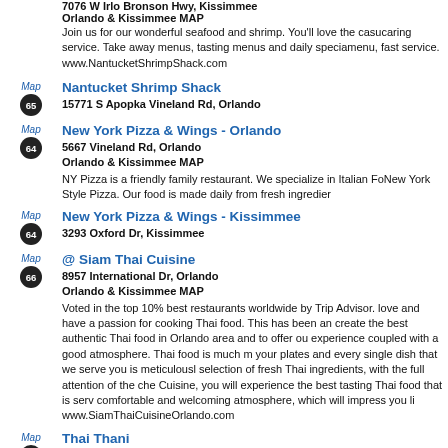7076 W Irlo Bronson Hwy, Kissimmee
Orlando & Kissimmee MAP
Join us for our wonderful seafood and shrimp. You'll love the casu caring service. Take away menus, tasting menus and daily specia menu, fast service. www.NantucketShrimpShack.com
65 Nantucket Shrimp Shack
15771 S Apopka Vineland Rd, Orlando
64 New York Pizza & Wings - Orlando
5667 Vineland Rd, Orlando
Orlando & Kissimmee MAP
NY Pizza is a friendly family restaurant. We specialize in Italian Fo New York Style Pizza. Our food is made daily from fresh ingredier
64 New York Pizza & Wings - Kissimmee
3293 Oxford Dr, Kissimmee
66 @ Siam Thai Cuisine
8957 International Dr, Orlando
Orlando & Kissimmee MAP
Voted in the top 10% best restaurants worldwide by Trip Advisor. love and have a passion for cooking Thai food. This has been an create the best authentic Thai food in Orlando area and to offer ou experience coupled with a good atmosphere. Thai food is much m your plates and every single dish that we serve you is meticulousl selection of fresh Thai ingredients, with the full attention of the che Cuisine, you will experience the best tasting Thai food that is serv comfortable and welcoming atmosphere, which will impress you li www.SiamThaiCuisineOrlando.com
61 Thai Thani
11025 International Dr, Orlando
Orlando & Kissimmee MAP
Thai food at it's best! Come and savor the taste and aroma of auth dining in an atmosphere and decor that will transport you to the ri that is Thailand! Whether you are a long time enthusiast or new t